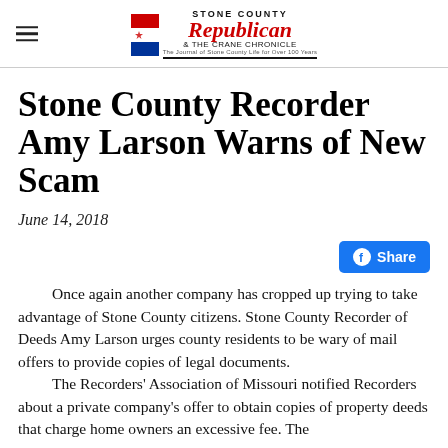Stone County Republican & The Crane Chronicle
Stone County Recorder Amy Larson Warns of New Scam
June 14, 2018
Once again another company has cropped up trying to take advantage of Stone County citizens. Stone County Recorder of Deeds Amy Larson urges county residents to be wary of mail offers to provide copies of legal documents. The Recorders' Association of Missouri notified Recorders about a private company's offer to obtain copies of property deeds that charge home owners an excessive fee. The